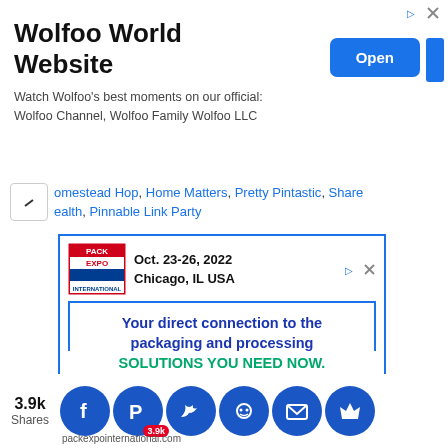[Figure (screenshot): Top advertisement banner for Wolfoo World Website with an Open button]
Homestead Hop, Home Matters, Pretty Pintastic, Share Health, Pinnable Link Party
[Figure (screenshot): Pack Expo International advertisement: Oct. 23-26, 2022 Chicago, IL USA. Your direct connection to the packaging and processing SOLUTIONS YOU NEED NOW. REGISTER NOW FOR $30!]
3.9k Shares
[Figure (infographic): Social sharing buttons: Facebook, Pinterest (3.9k), Twitter, Reddit, Email, Crown/bookmark icon, and packexpointernational.com URL text]